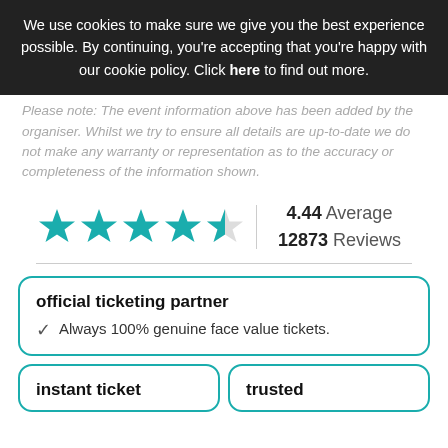We use cookies to make sure we give you the best experience possible. By continuing, you're accepting that you're happy with our cookie policy. Click here to find out more.
Please note: The event information above has been added by the organiser. Whilst we try to ensure all details are up-to-date we do not make any warranty or representation as to the accuracy or completeness of the information shown.
[Figure (other): Star rating display showing 4.44 out of 5 stars (four filled teal stars and one half star), with text '4.44 Average' and '12873 Reviews']
official ticketing partner
✓ Always 100% genuine face value tickets.
instant ticket
trusted